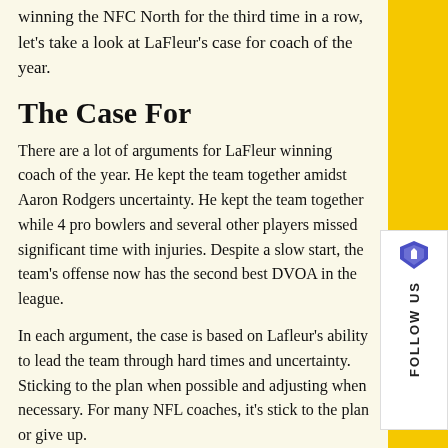winning the NFC North for the third time in a row, let's take a look at LaFleur's case for coach of the year.
The Case For
There are a lot of arguments for LaFleur winning coach of the year. He kept the team together amidst Aaron Rodgers uncertainty. He kept the team together while 4 pro bowlers and several other players missed significant time with injuries. Despite a slow start, the team's offense now has the second best DVOA in the league.
In each argument, the case is based on Lafleur's ability to lead the team through hard times and uncertainty. Sticking to the plan when possible and adjusting when necessary. For many NFL coaches, it's stick to the plan or give up.
LaFleur has each of the qualities it takes to be a great coach. He has the respect of his players, he has the ability to design a great gameplan, and he has the ability to adapt in game. Last season the Packers had a top 2 or 3